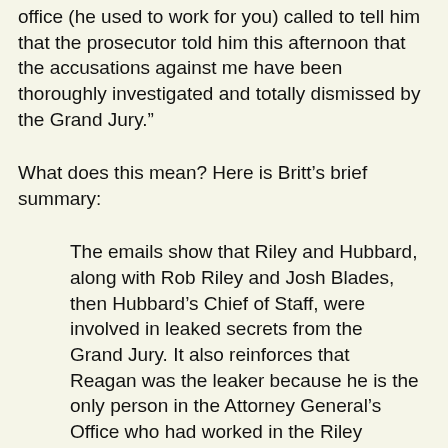office (he used to work for you) called to tell him that the prosecutor told him this afternoon that the accusations against me have been thoroughly investigated and totally dismissed by the Grand Jury.”
What does this mean? Here is Britt’s brief summary:
The emails show that Riley and Hubbard, along with Rob Riley and Josh Blades, then Hubbard’s Chief of Staff, were involved in leaked secrets from the Grand Jury. It also reinforces that Reagan was the leaker because he is the only person in the Attorney General’s Office who had worked in the Riley Administration.
This is the most powerful evidence yet of the deep sleaze in which Hubbard and the Rileys have engaged. This raises all kinds of questions, but for now, we will focus on these: